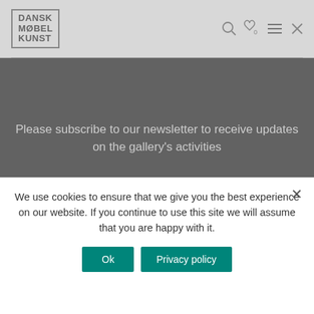DANSK MØBEL KUNST
Please subscribe to our newsletter to receive updates on the gallery's activities
Your email | Sign up
We use cookies to ensure that we give you the best experience on our website. If you continue to use this site we will assume that you are happy with it.
Ok | Privacy policy